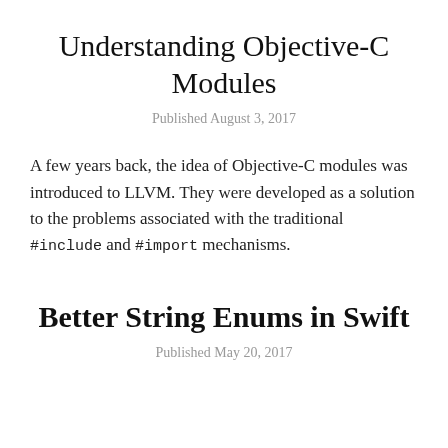Understanding Objective-C Modules
Published August 3, 2017
A few years back, the idea of Objective-C modules was introduced to LLVM. They were developed as a solution to the problems associated with the traditional #include and #import mechanisms.
Better String Enums in Swift
Published May 20, 2017